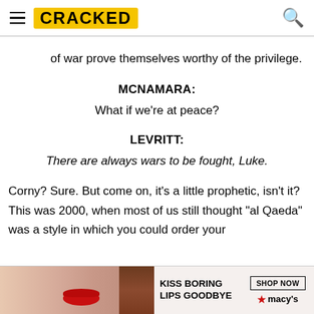CRACKED
of war prove themselves worthy of the privilege.
MCNAMARA:
What if we're at peace?
LEVRITT:
There are always wars to be fought, Luke.
Corny? Sure. But come on, it's a little prophetic, isn't it? This was 2000, when most of us still thought "al Qaeda" was a style in which you could order your
[Figure (photo): Macy's advertisement banner with text 'KISS BORING LIPS GOODBYE' and 'SHOP NOW' button, featuring a woman's face with red lips]